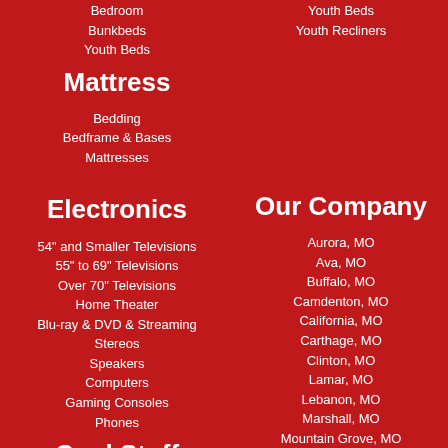Bedroom
Bunkbeds
Youth Beds
Mattress
Bedding
Bedframe & Bases
Mattresses
Electronics
54" and Smaller Televisions
55" to 69" Televisions
Over 70" Televisions
Home Theater
Blu-ray & DVD & Streaming
Stereos
Speakers
Computers
Gaming Consoles
Phones
Cool Stuff
Youth Beds
Youth Recliners
Our Company
Aurora, MO
Ava, MO
Buffalo, MO
Camdenton, MO
California, MO
Carthage, MO
Clinton, MO
Lamar, MO
Lebanon, MO
Marshall, MO
Mountain Grove, MO